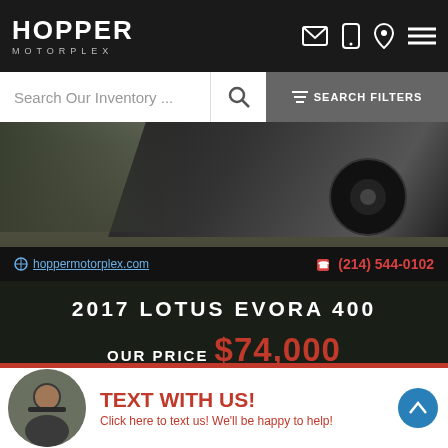HOPPER MOTORPLEX
Search Our Inventory ...
SEARCH FILTERS
[Figure (photo): Photo of a dark sports car (Lotus Evora 400) from above/side angle, black wheels, dark body]
hoppermotorplex.com  (214) 544-0102
2017 LOTUS EVORA 400
OUR PRICE $74,000
Exterior: Metallic Gray
Interior: Black Leather
Engine: Engine: 3.5L Supercharged 24-Valve DOHC 6- ...inc: Mid-mounted
Transmission:
Drivetrain:
Mileage:
TEXT WITH US! Click here to text us! We'll be happy to help!